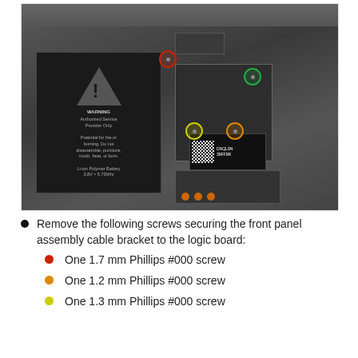[Figure (photo): Internal view of iPhone showing battery and logic board with colored circles marking screw locations: red circle (1.7mm Phillips #000), green circle (unknown), yellow circle (1.3mm Phillips #000), orange circle (1.2mm Phillips #000)]
Remove the following screws securing the front panel assembly cable bracket to the logic board:
One 1.7 mm Phillips #000 screw
One 1.2 mm Phillips #000 screw
One 1.3 mm Phillips #000 screw